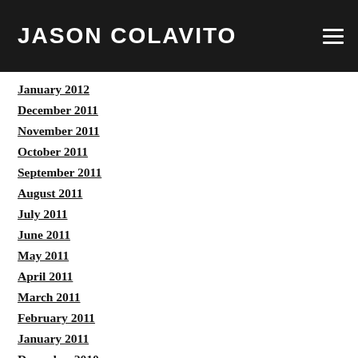JASON COLAVITO
January 2012
December 2011
November 2011
October 2011
September 2011
August 2011
July 2011
June 2011
May 2011
April 2011
March 2011
February 2011
January 2011
December 2010
November 2010
October 2010